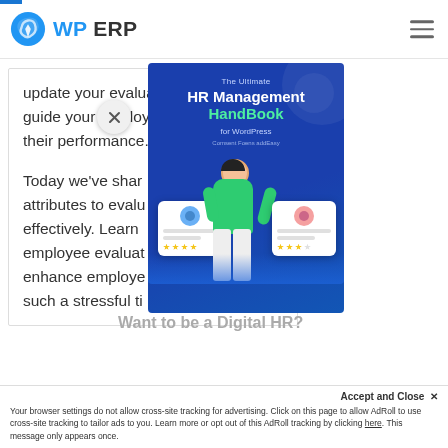WP ERP
update your evaluation process and guide your employees to improve their performance.
Today we've shared attributes to evaluate effectively. Learn employee evaluation enhance employees such a stressful ti
[Figure (illustration): The Ultimate HR Management HandBook for WordPress book cover with blue background and illustration of a person reviewing employee cards with star ratings]
Want to be a Digital HR?
Accept and Close ✕
Your browser settings do not allow cross-site tracking for advertising. Click on this page to allow AdRoll to use cross-site tracking to tailor ads to you. Learn more or opt out of this AdRoll tracking by clicking here. This message only appears once.